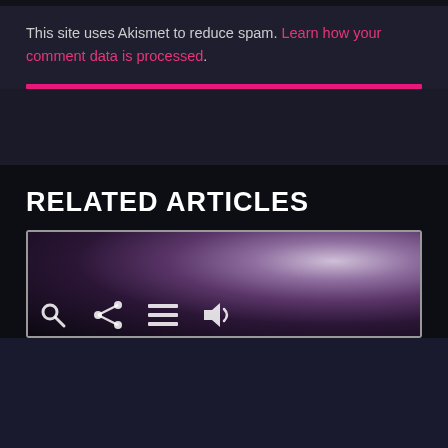This site uses Akismet to reduce spam. Learn how your comment data is processed.
RELATED ARTICLES
[Figure (screenshot): Article card thumbnail with dark purple gradient background and toolbar icons (search, share, menu, audio) at the bottom]